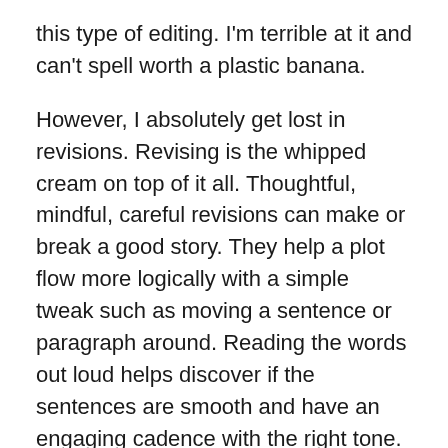this type of editing. I'm terrible at it and can't spell worth a plastic banana.
However, I absolutely get lost in revisions. Revising is the whipped cream on top of it all. Thoughtful, mindful, careful revisions can make or break a good story. They help a plot flow more logically with a simple tweak such as moving a sentence or paragraph around. Reading the words out loud helps discover if the sentences are smooth and have an engaging cadence with the right tone. If the out-loud reading reveals rough passages, then rewording or finding a more powerful or correct word can make all the difference. Out-loud reading also lets the author actually hear the various characters speak. The last thing a book needs is all the characters sounding the same. Distinct voices can make the emotional parts of the story soar. If an author loves revision, the reader will love the book.